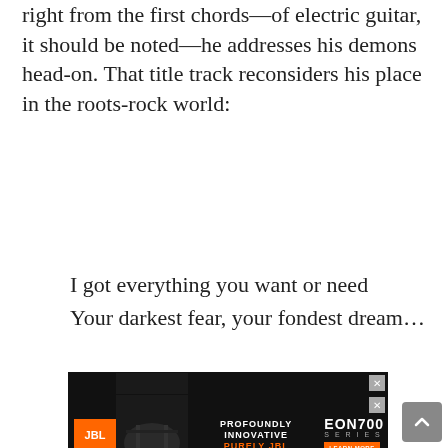right from the first chords—of electric guitar, it should be noted—he addresses his demons head-on. That title track reconsiders his place in the roots-rock world:
I got everything you want or need
Your darkest fear, your fondest dream…
[Figure (screenshot): JBL EON700 Series advertisement — black background with band photo, 'PROFOUNDLY INNOVATIVE PURELY JBL' text and 'LEARN MORE' button]
[Figure (screenshot): JBL EON700 Series advertisement — repeated, black background with band photo, 'PROFOUNDLY INNOVATIVE PURELY JBL' text and 'LEARN MORE' button]